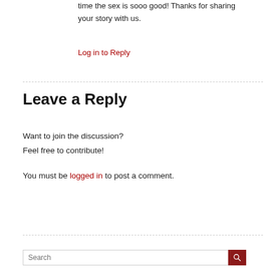time the sex is sooo good! Thanks for sharing your story with us.
Log in to Reply
Leave a Reply
Want to join the discussion?
Feel free to contribute!
You must be logged in to post a comment.